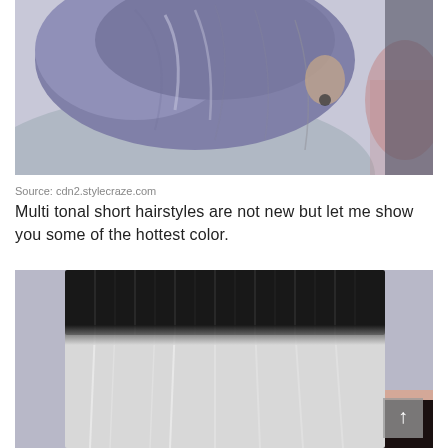[Figure (photo): Close-up photo of a person with multi-tonal short blue-gray/lavender colored hair, wearing a gray hoodie, with earrings visible]
Source: cdn2.stylecraze.com
Multi tonal short hairstyles are not new but let me show you some of the hottest color.
[Figure (photo): Photo of a person with straight bob hairstyle featuring dark black roots transitioning to silver-white ombre, wearing a dark top, with a scroll-up button overlaid in the bottom right corner]